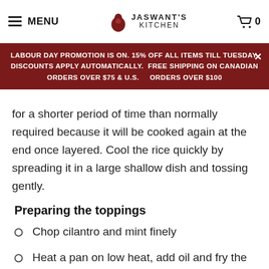MENU | JASWANT'S KITCHEN | 0
LABOUR DAY PROMOTION IS ON. 15% OFF ALL ITEMS TILL TUESDAY. DISCOUNTS APPLY AUTOMATICALLY. FREE SHIPPING ON CANADIAN ORDERS OVER $75 & U.S. ORDERS OVER $100
for a shorter period of time than normally required because it will be cooked again at the end once layered. Cool the rice quickly by spreading it in a large shallow dish and tossing gently.
Preparing the toppings
Chop cilantro and mint finely
Heat a pan on low heat, add oil and fry the onion slices until golden and caramelized about 20 minutes then keep aside
In the same pan, fry the slivered